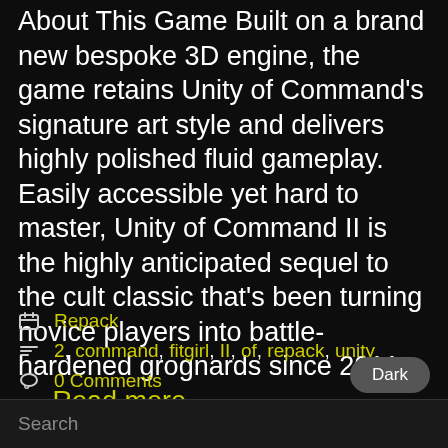About This Game Built on a brand new bespoke 3D engine, the game retains Unity of Command’s signature art style and delivers highly polished fluid gameplay. Easily accessible yet hard to master, Unity of Command II is the highly anticipated sequel to the cult classic that’s been turning novice players into battle-hardened grognards since 2011. … Read more
Repack
2, command, fitgirl, II, of, repack, unity
0 Comments